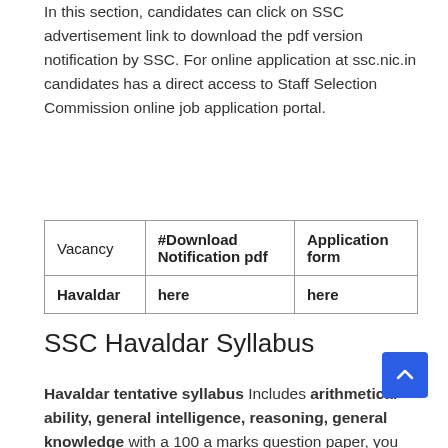In this section, candidates can click on SSC advertisement link to download the pdf version notification by SSC. For online application at ssc.nic.in candidates has a direct access to Staff Selection Commission online job application portal.
| Vacancy | #Download Notification pdf | Application form |
| --- | --- | --- |
| Havaldar | here | here |
SSC Havaldar Syllabus
Havaldar tentative syllabus Includes arithmetical ability, general intelligence, reasoning, general knowledge with a 100 a marks question paper, you can also check other SSC notification exam pattern & pdf files at our syllabus